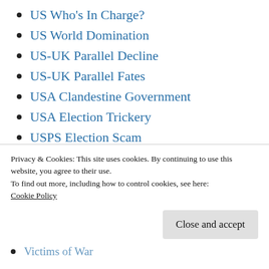US Who's In Charge?
US World Domination
US-UK Parallel Decline
US-UK Parallel Fates
USA Clandestine Government
USA Election Trickery
USPS Election Scam
USS Liberty Betrayal
USS Liberty Coverup
USS Liberty Incident
USS Liberty Injustice
Victims of War
Privacy & Cookies: This site uses cookies. By continuing to use this website, you agree to their use. To find out more, including how to control cookies, see here: Cookie Policy
Close and accept